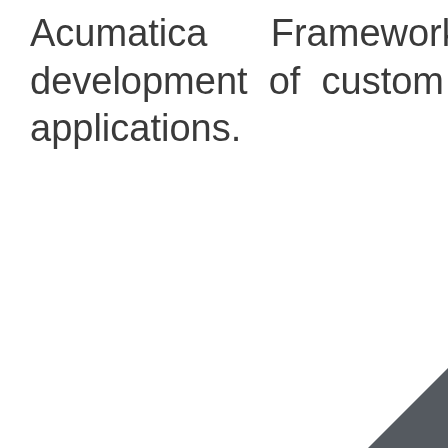Acumatica Framework for development of custom business applications.
[Figure (illustration): Dark gray triangular corner decoration in the bottom-right corner of the page]